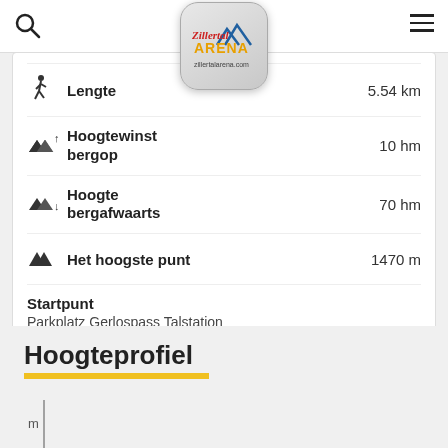Zillertalarena - zillertalarena.com
Lengte: 5.54 km
Hoogtewinst bergop: 10 hm
Hoogte bergafwaarts: 70 hm
Het hoogste punt: 1470 m
Startpunt
Parkplatz Gerlospass Talstation
Eindpunt
Alpengasthof Finkau
Hoogteprofiel
[Figure (other): Partial elevation profile chart with y-axis labeled m, vertical axis line visible at bottom of page]